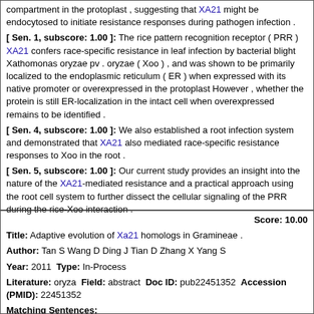compartment in the protoplast , suggesting that XA21 might be endocytosed to initiate resistance responses during pathogen infection .
[ Sen. 1, subscore: 1.00 ]: The rice pattern recognition receptor ( PRR ) XA21 confers race-specific resistance in leaf infection by bacterial blight Xathomonas oryzae pv . oryzae ( Xoo ) , and was shown to be primarily localized to the endoplasmic reticulum ( ER ) when expressed with its native promoter or overexpressed in the protoplast However , whether the protein is still ER-localization in the intact cell when overexpressed remains to be identified .
[ Sen. 4, subscore: 1.00 ]: We also established a root infection system and demonstrated that XA21 also mediated race-specific resistance responses to Xoo in the root .
[ Sen. 5, subscore: 1.00 ]: Our current study provides an insight into the nature of the XA21-mediated resistance and a practical approach using the root cell system to further dissect the cellular signaling of the PRR during the rice-Xoo interaction .
Score: 10.00
Title: Adaptive evolution of Xa21 homologs in Gramineae .
Author: Tan S Wang D Ding J Tian D Zhang X Yang S
Year: 2011 Type: In-Process
Literature: oryza Field: abstract Doc ID: pub22451352 Accession (PMID): 22451352
Matching Sentences:
[ Sen. 3, subscore: 3.00 ]: Therefore , we analyzed all Xa21 gene homologs in eight whole-genome sequenced rice lines , as well as in four gramineous genomes , rice , Brachypodium , sorghum and maize ; using Arabidopsis Xa21 homologs as outgroups , 17 , 7 , 7 and 3 Xa21 homologs were detected in these four grasses , respectively .